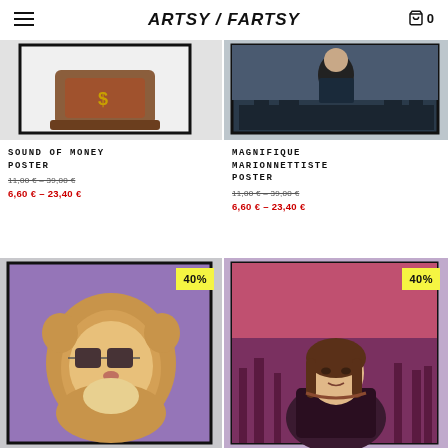ARTSY / FARTSY
[Figure (photo): Sound of Money poster product image showing ornate wooden object with dollar sign]
SOUND OF MONEY POSTER
11,00 € – 39,00 €
6,60 € – 23,40 €
[Figure (photo): Magnifique Marionnettiste poster product image showing figure in suit with cityscape]
MAGNIFIQUE MARIONNETTISTE POSTER
11,00 € – 39,00 €
6,60 € – 23,40 €
[Figure (photo): Lion wearing sunglasses on purple background poster with 40% badge]
[Figure (photo): Mona Lisa in dystopian cityscape with purple/red sky poster with 40% badge]